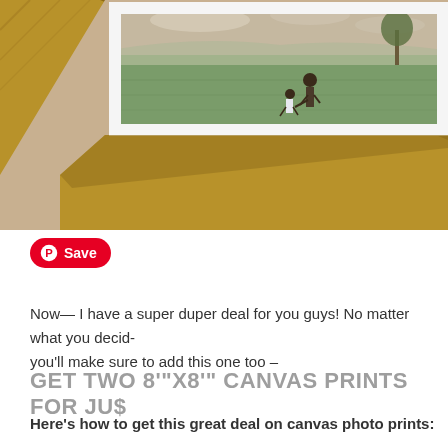[Figure (photo): A framed photograph showing two people (an adult and a child) walking hand-in-hand through a green field under a cloudy sky with a tree in the background. The photo is displayed in a light wood frame sitting on a wooden surface.]
Save
Now— I have a super duper deal for you guys! No matter what you decid- you'll make sure to add this one too –
GET TWO 8'"X8'" CANVAS PRINTS FOR JU$
Here's how to get this great deal on canvas photo prints: